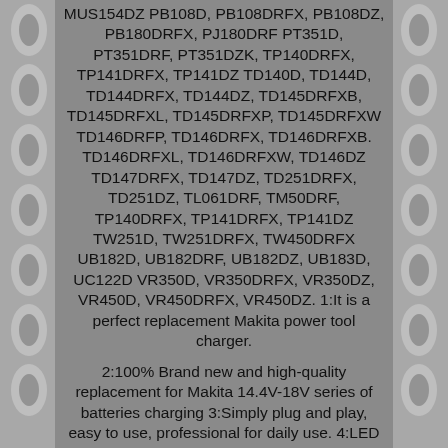MUS154DZ PB108D, PB108DRFX, PB108DZ, PB180DRFX, PJ180DRF PT351D, PT351DRF, PT351DZK, TP140DRFX, TP141DRFX, TP141DZ TD140D, TD144D, TD144DRFX, TD144DZ, TD145DRFXB, TD145DRFXL, TD145DRFXP, TD145DRFXW TD146DRFP, TD146DRFX, TD146DRFXB. TD146DRFXL, TD146DRFXW, TD146DZ TD147DRFX, TD147DZ, TD251DRFX, TD251DZ, TL061DRF, TM50DRF, TP140DRFX, TP141DRFX, TP141DZ TW251D, TW251DRFX, TW450DRFX UB182D, UB182DRF, UB182DZ, UB183D, UC122D VR350D, VR350DRFX, VR350DZ, VR450D, VR450DRFX, VR450DZ. 1:It is a perfect replacement Makita power tool charger.
2:100% Brand new and high-quality replacement for Makita 14.4V-18V series of batteries charging 3:Simply plug and play, easy to use, professional for daily use. 4:LED indicator to display charging status, monitor the current voltage and temperature for faster charging and extend the battery life. 5:Short-circuit protection / over-heating protection / over-discharging protection / over-charging